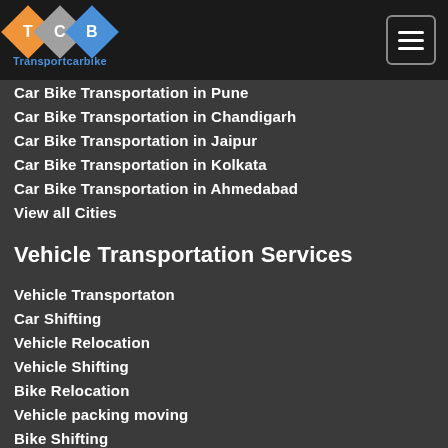[Figure (logo): Transportcarbike logo with three overlapping diamond shapes (orange T, gray C, blue B) and text 'Transportcarbike' below]
Car Bike Transportation in Pune
Car Bike Transportation in Chandigarh
Car Bike Transportation in Jaipur
Car Bike Transportation in Kolkata
Car Bike Transportation in Ahmedabad
View all Cities
Vehicle Transportation Services
Vehicle Transportaton
Car Shifting
Vehicle Relocation
Vehicle Shifting
Bike Relocation
Vehicle packing moving
Bike Shifting
Bike Transportation
Car Transportation
View All Cities >>